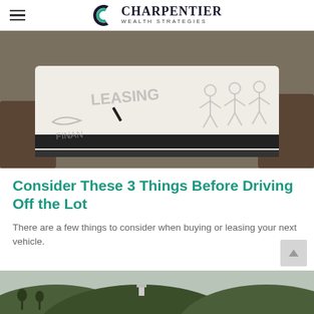Charpentier Wealth Strategies
[Figure (photo): Hands holding a tablet showing a sketch/whiteboard illustration of leasing vs financing options with stick figures and text labels]
Consider These 3 Things Before Driving Off the Lot
There are a few things to consider when buying or leasing your next vehicle.
[Figure (photo): Partial aerial/landscape photo showing green hills and a structure, visible at bottom of page]